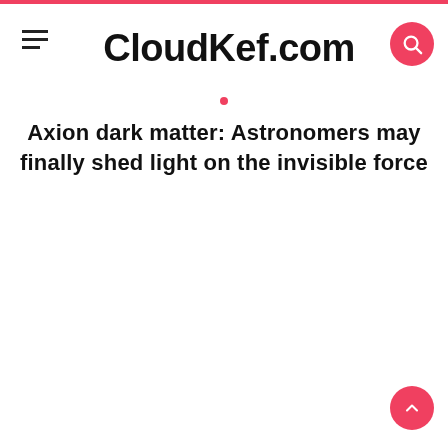CloudKef.com
Axion dark matter: Astronomers may finally shed light on the invisible force